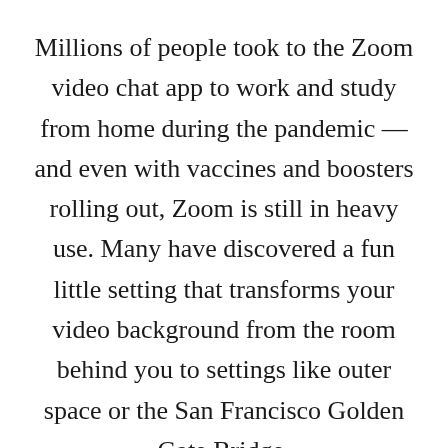Millions of people took to the Zoom video chat app to work and study from home during the pandemic — and even with vaccines and boosters rolling out, Zoom is still in heavy use. Many have discovered a fun little setting that transforms your video background from the room behind you to settings like outer space or the San Francisco Golden Gate Bridge.

You can even upload a photo to customize